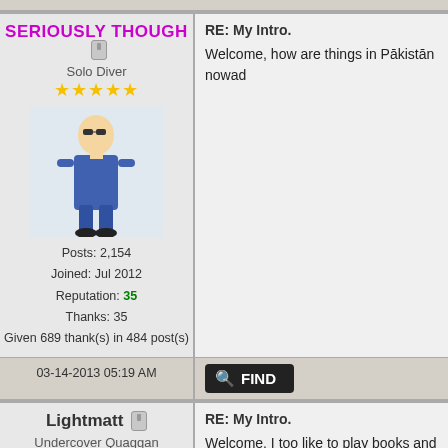SERIOUSLY THOUGH
Solo Diver
Posts: 2,154 | Joined: Jul 2012 | Reputation: 35 | Thanks: 35 | Given 689 thank(s) in 484 post(s)
RE: My Intro.
Welcome, how are things in Pākistān nowad...
03-14-2013 05:19 AM
FIND
Lightmatt
Undercover Quaggan
Posts: 170 | Joined: Nov 2012 | Reputation: 6 | Thanks: 21
RE: My Intro.
Welcome. I too like to play books and read ga...